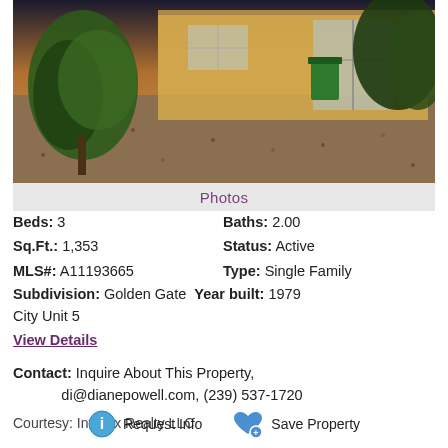[Figure (photo): Exterior photo of a single family home showing a front yard covered with gravel/mulch, tropical plants on the left, a green trash bin near a glass door entrance, and trees in background, taken at dusk with warm lighting.]
Photos
Beds: 3   Baths: 2.00
Sq.Ft.: 1,353   Status: Active
MLS#: A11193665   Type: Single Family
Subdivision: Golden Gate   Year built: 1979
City Unit 5
View Details
Contact: Inquire About This Property, di@dianepowell.com, (239) 537-1720
Courtesy: Invelux Realty LLC
Request Info   Save Property